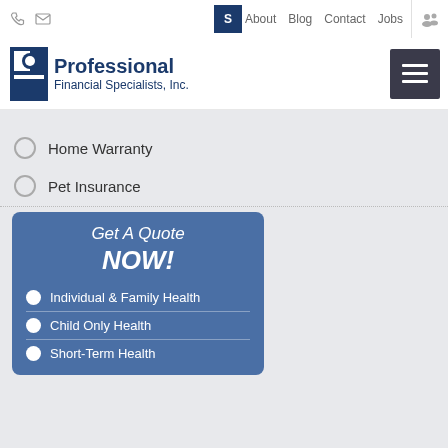Phone | Mail | S | About | Blog | Contact | Jobs | People
[Figure (logo): Professional Financial Specialists, Inc. logo with hamburger menu button]
Home Warranty
Pet Insurance
Get A Quote NOW!
Individual & Family Health
Child Only Health
Short-Term Health